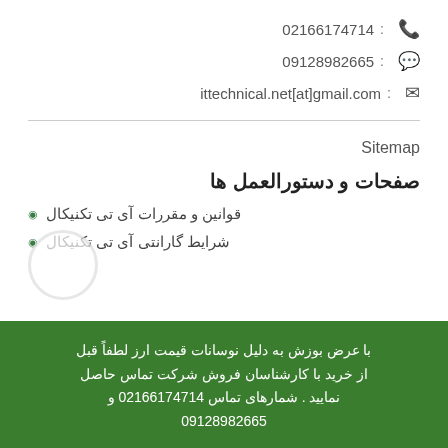02166174714 : 📞
09128982665 : 💬
ittechnical.net[at]gmail.com : ✉
Sitemap
صفحات و دستورالعمل ها
قوانین و مقررات آی تی تکنیکال
شرایط گارانتی آی تی تکنیکال
با عرض بوزش به دلیل نوسانات قیمت ارز لطفاً قبل از خرید با کارشناسان فروش شرکت تماس حاصل نمایید . شمارهای تماس 02166174714 و 09128982665